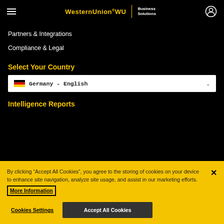[Figure (logo): Western Union WU Business Solutions logo with hamburger menu and user icon on black header]
Partners & Integrations
Compliance & Legal
Select Your Country
[Figure (screenshot): Country dropdown selector showing Germany - English with German flag]
Intelligence Reports
By clicking “Accept All Cookies”, you agree to the storing of cookies on your device to enhance site navigation, analyze site usage, and assist in our marketing efforts. More Information
Cookies Settings
Accept All Cookies